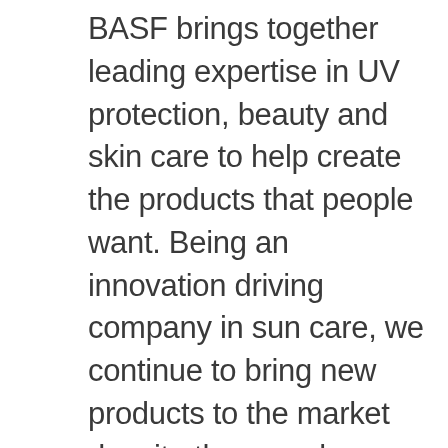BASF brings together leading expertise in UV protection, beauty and skin care to help create the products that people want. Being an innovation driving company in sun care, we continue to bring new products to the market despite the complex regulatory background. Four out of five recently approved UV filters on the market are BASF developments. We are recognized for our high competence in all areas of sunscreen development, from research competence to product development and all the way to regulatory questions. Our aim is to offer our customers tailor-